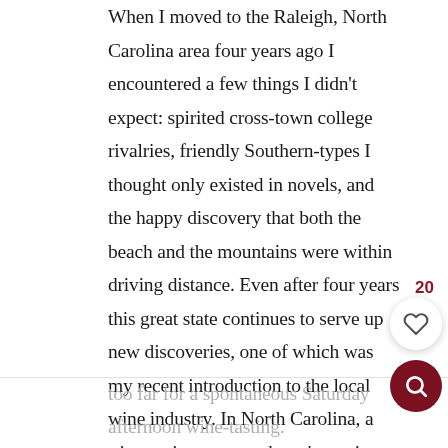When I moved to the Raleigh, North Carolina area four years ago I encountered a few things I didn't expect: spirited cross-town college rivalries, friendly Southern-types I thought only existed in novels, and the happy discovery that both the beach and the mountains were within driving distance. Even after four years this great state continues to serve up new discoveries, one of which was my recent introduction to the local wine industry. In North Carolina, a trip to wine country doesn't require an airline ticket because it's all right here in our backyard. With about 100 local wineries in the state you don't have to go
too far for a spontaneous Saturday afternoon wine-tasting.